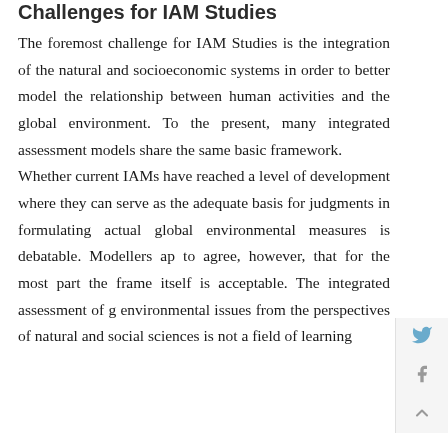Challenges for IAM Studies
The foremost challenge for IAM Studies is the integration of the natural and socioeconomic systems in order to better model the relationship between human activities and the global environment. To the present, many integrated assessment models share the same basic framework.
Whether current IAMs have reached a level of development where they can serve as the adequate basis for judgments in formulating actual global environmental measures is debatable. Modellers ap to agree, however, that for the most part the frame itself is acceptable. The integrated assessment of g environmental issues from the perspectives of natural and social sciences is not a field of learning